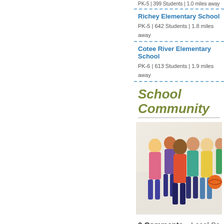PK-5 | 642 Students | 1.8 miles away (partial top)
Richey Elementary School
PK-5 | 642 Students | 1.8 miles away
Cotee River Elementary School
PK-6 | 613 Students | 1.9 miles away
School Community
[Figure (photo): Group of diverse students/teenagers smiling, some holding books and a basketball]
0 Comments   Local Sc
Favorite   Tweet